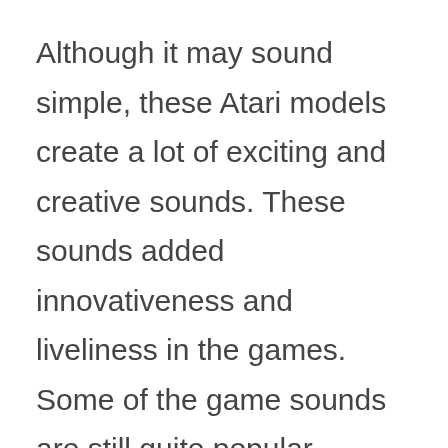Although it may sound simple, these Atari models create a lot of exciting and creative sounds. These sounds added innovativeness and liveliness in the games. Some of the game sounds are still quite popular.

Today, these separate game theme sounds and general Atari sounds are not limited to only these consoles but can be played over the internet. Many people